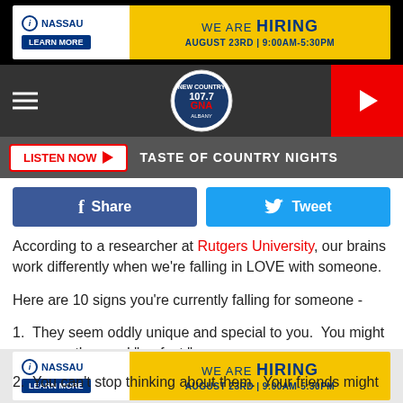[Figure (other): Nassau hiring advertisement banner - yellow and white, WE ARE HIRING August 23rd 9:00AM-5:30PM]
[Figure (other): 107.7 GNA New Country Albany radio station header with hamburger menu and play button]
[Figure (other): Listen Now button bar with Taste of Country Nights label]
[Figure (other): Facebook Share and Twitter Tweet social buttons]
According to a researcher at Rutgers University, our brains work differently when we're falling in LOVE with someone.
Here are 10 signs you're currently falling for someone -
1.  They seem oddly unique and special to you.  You might even use the word "perfect."
2.  You can't stop thinking about them.  Your friends might
[Figure (other): Nassau hiring advertisement banner - bottom, yellow and white, WE ARE HIRING August 23rd 9:00AM-5:30PM]